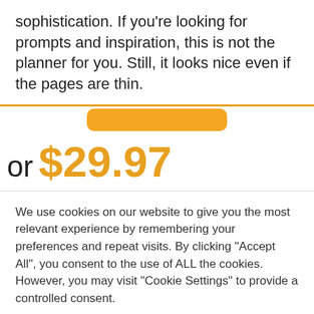sophistication. If you’re looking for prompts and inspiration, this is not the planner for you. Still, it looks nice even if the pages are thin.
or $29.97
We use cookies on our website to give you the most relevant experience by remembering your preferences and repeat visits. By clicking “Accept All”, you consent to the use of ALL the cookies. However, you may visit "Cookie Settings" to provide a controlled consent.